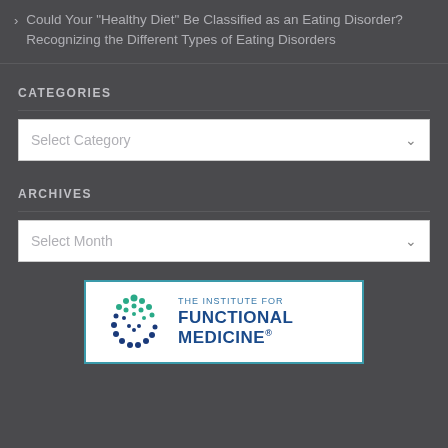Could Your "Healthy Diet" Be Classified as an Eating Disorder? Recognizing the Different Types of Eating Disorders
CATEGORIES
[Figure (screenshot): A dropdown selector widget with text 'Select Category' and a down chevron arrow]
ARCHIVES
[Figure (screenshot): A dropdown selector widget with text 'Select Month' and a down chevron arrow]
[Figure (logo): The Institute for Functional Medicine logo with circular dot pattern and text]